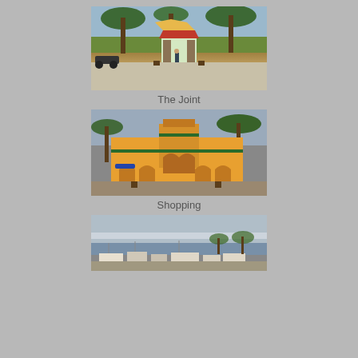[Figure (photo): Outdoor photo of 'The Joint' venue with palm trees flanking a colorful gazebo/entrance structure, motorcycles parked on the left, sunny day.]
The Joint
[Figure (photo): Photo of a shopping center building with yellow/orange stucco exterior, arched entryways, green awnings, palm trees in front, at dusk or overcast.]
Shopping
[Figure (photo): Photo of a waterfront or marina scene with boats, buildings, and palm trees under an overcast sky.]